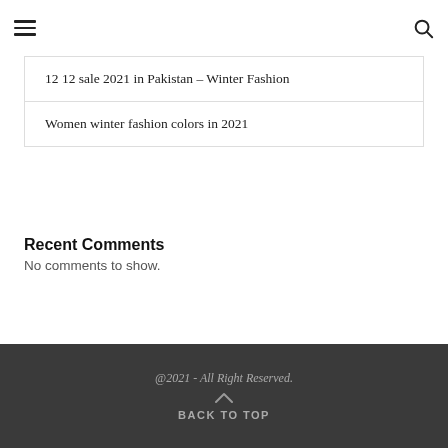☰ [search icon]
12 12 sale 2021 in Pakistan – Winter Fashion
Women winter fashion colors in 2021
Recent Comments
No comments to show.
@2021 - All Right Reserved. BACK TO TOP